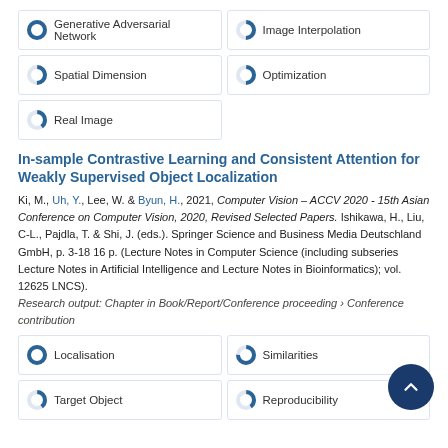Generative Adversarial Network 100%
Image Interpolation 50%
Spatial Dimension 50%
Optimization 50%
Real Image 40%
In-sample Contrastive Learning and Consistent Attention for Weakly Supervised Object Localization
Ki, M., Uh, Y., Lee, W. & Byun, H., 2021, Computer Vision – ACCV 2020 - 15th Asian Conference on Computer Vision, 2020, Revised Selected Papers. Ishikawa, H., Liu, C-L., Pajdla, T. & Shi, J. (eds.). Springer Science and Business Media Deutschland GmbH, p. 3-18 16 p. (Lecture Notes in Computer Science (including subseries Lecture Notes in Artificial Intelligence and Lecture Notes in Bioinformatics); vol. 12625 LNCS). Research output: Chapter in Book/Report/Conference proceeding › Conference contribution
Localisation 100%
Similarities 75%
Target Object 40%
Reproducibility 40%